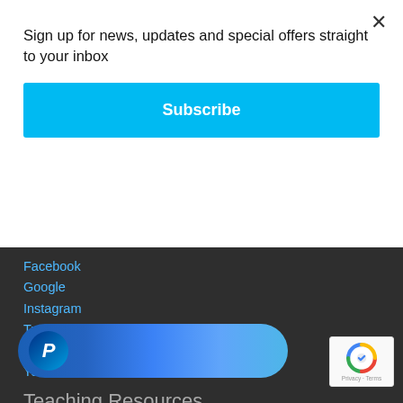Sign up for news, updates and special offers straight to your inbox
Subscribe
Facebook
Google
Instagram
Tumblr
Twitter
YouTube
Teaching Resources
ALIA Graphic Novels
[Figure (logo): PayPal button with P logo on blue pill-shaped button]
[Figure (logo): Google reCAPTCHA badge with Privacy and Terms text]